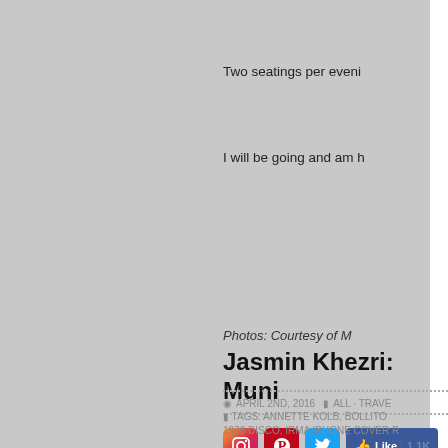[Figure (photo): Gray sidebar image panel on the left side of the page]
Two seatings per eveni
I will be going and am h
Photos: Courtesy of M
[Figure (other): Social sharing icons: Instagram, Pinterest, Twitter, and Facebook Like button showing 1.1K likes]
Jasmin Khezri: Muni
APRIL 2ND, 2016  ALL · TRAVE
TAGS: ANNETTE KOLB, BOLLITO
1970 DISCO, IRMA IPHONE COVER R